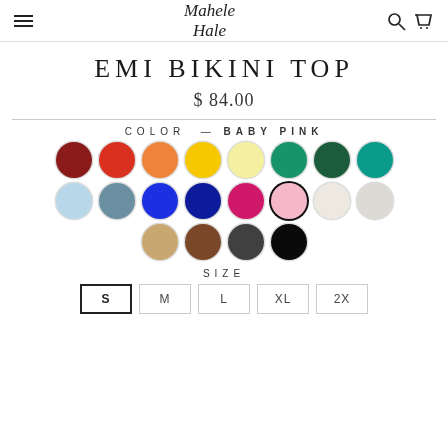Mahele Hale — navigation header with logo, search, and cart icons
EMI BIKINI TOP
$ 84.00
COLOR — BABY PINK
[Figure (illustration): Color swatches: dark red, red, orange, yellow, pale yellow, teal green, dark green, teal; light blue, slate blue, royal blue, navy blue, hot pink, baby pink (selected), cream, light gray; tan, brown, charcoal, black]
SIZE
[Figure (illustration): Size selector buttons: S (selected/outlined), M, L, XL, 2X]